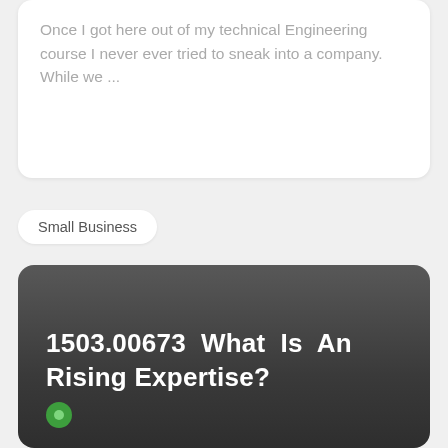Once I got here out of my technical Engineering course I never ever tried to sneak into a company. While we ...
Small Business
1503.00673 What Is An Rising Expertise?